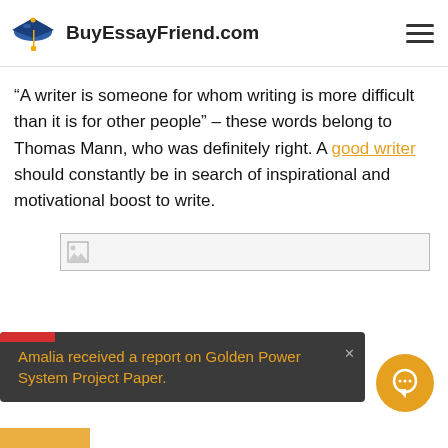BuyEssayFriend.com
“A writer is someone for whom writing is more difficult than it is for other people” – these words belong to Thomas Mann, who was definitely right. A good writer should constantly be in search of inspirational and motivational boost to write.
[Figure (photo): Broken image placeholder showing a small image icon]
Amalia received a report on Golden Power System Project Paper.